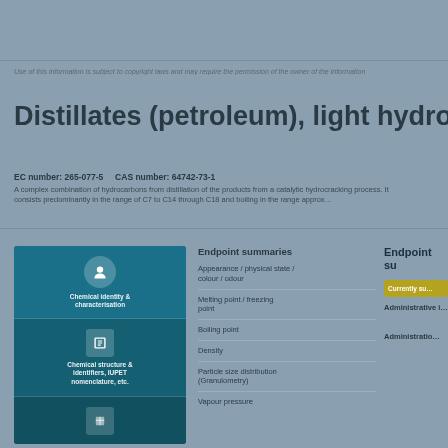Use of this information is subject to copyright laws and may require the permission of the owner of the information
Distillates (petroleum), light hydrocracked
EC number: 265-077-5   CAS number: 64742-73-1  A complex combination of hydrocarbons from distillation of the products from a catalytic hydrocracking process. It consists predominantly in the range of C7 to C14 through C18 and boiling in the range approximately
[Figure (infographic): Left blue panel with icons for chemical identity information, chemical structure & inventory, and other data sections]
Endpoint summaries
Appearance / physical state / colour / odour
Melting point / freezing point
Boiling point
Density
Particle size distribution (Granulometry)
Vapour pressure
Endpoint su...
Currently su...
Administrative i...
Administrative...